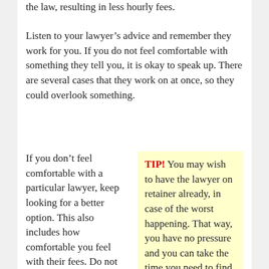the law, resulting in less hourly fees.
Listen to your lawyer's advice and remember they work for you. If you do not feel comfortable with something they tell you, it is okay to speak up. There are several cases that they work on at once, so they could overlook something.
If you don't feel comfortable with a particular lawyer, keep looking for a better option. This also includes how comfortable you feel with their fees. Do not give your lawyer a blank retainer check with your signature on it. Prior to hiring them, ask them for estimate so fees do not
TIP! You may wish to have the lawyer on retainer already, in case of the worst happening. That way, you have no pressure and you can take the time you need to find a trustworthy lawyer.